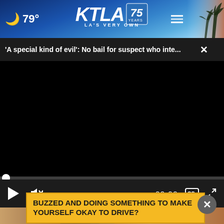KTLA 75 Years - LA's Very Own | 79° weather
'A special kind of evil': No bail for suspect who inte...
[Figure (screenshot): Black video player area with playback controls showing 00:00, mute button, CC button, and fullscreen button, with progress bar at top.]
BUZZED AND DOING SOMETHING TO MAKE YOURSELF OKAY TO DRIVE?